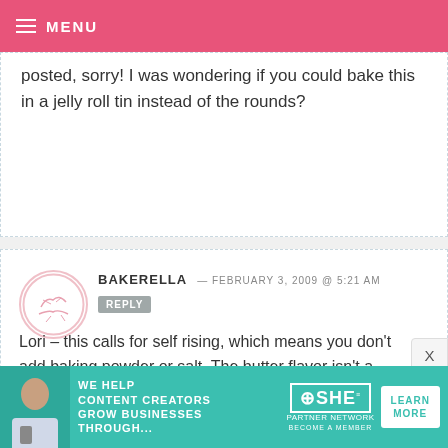≡ MENU
posted, sorry! I was wondering if you could bake this in a jelly roll tin instead of the rounds?
BAKERELLA — FEBRUARY 3, 2009 @ 5:21 AM
REPLY
Lori – this calls for self rising, which means you don't add baking powder or salt. The butter flavor isn't a necessity. I've used Swans, but I mostly use White Lily AP or Self Rising.
[Figure (infographic): SHE Partner Network advertisement banner with text 'WE HELP CONTENT CREATORS GROW BUSINESSES THROUGH...' and a Learn More button]